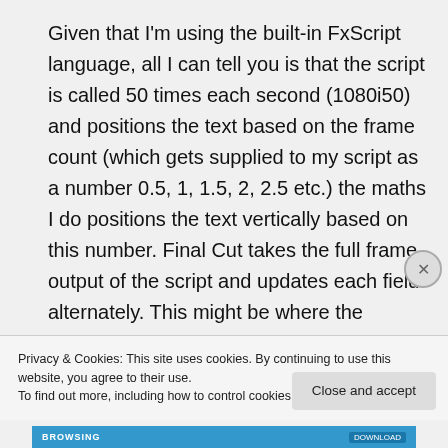Given that I'm using the built-in FxScript language, all I can tell you is that the script is called 50 times each second (1080i50) and positions the text based on the frame count (which gets supplied to my script as a number 0.5, 1, 1.5, 2, 2.5 etc.) the maths I do positions the text vertically based on this number. Final Cut takes the full frame output of the script and updates each field alternately. This might be where the
Privacy & Cookies: This site uses cookies. By continuing to use this website, you agree to their use.
To find out more, including how to control cookies, see here: Cookie Policy